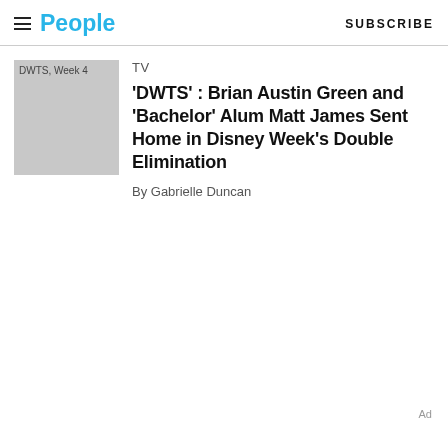People | SUBSCRIBE
[Figure (photo): Thumbnail image placeholder labeled 'DWTS, Week 4' with gray background]
TV
'DWTS' : Brian Austin Green and 'Bachelor' Alum Matt James Sent Home in Disney Week's Double Elimination
By Gabrielle Duncan
Ad